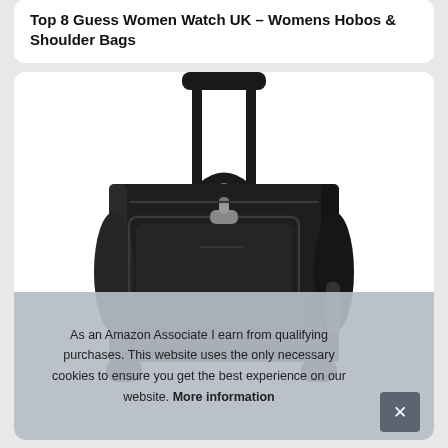Top 8 Guess Women Watch UK – Womens Hobos & Shoulder Bags
[Figure (photo): Photo of a black rolling luggage/trolley bag with retractable handle extended upward, front-facing view showing front pocket with zipper pull, carry handle on top, and wheel at bottom right]
As an Amazon Associate I earn from qualifying purchases. This website uses the only necessary cookies to ensure you get the best experience on our website. More information